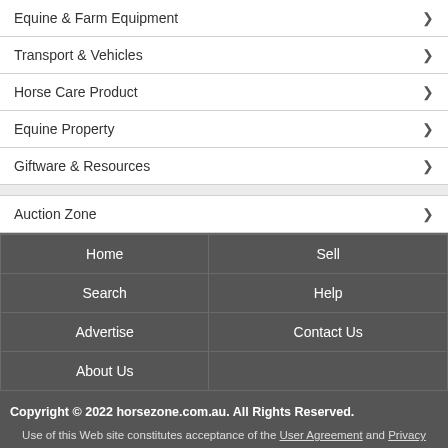Equine & Farm Equipment
Transport & Vehicles
Horse Care Product
Equine Property
Giftware & Resources
Auction Zone
| Home | Sell |
| --- | --- |
| Search | Help |
| Advertise | Contact Us |
| About Us |  |
Copyright © 2022 horsezone.com.au. All Rights Reserved.
Use of this Web site constitutes acceptance of the User Agreement and Privacy Policy. Designated trademarks and brands are the property of their respective owners.
Horsezone is powered by Inglis Digital